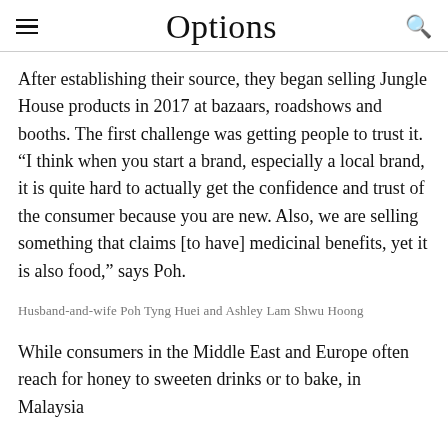Options
After establishing their source, they began selling Jungle House products in 2017 at bazaars, roadshows and booths. The first challenge was getting people to trust it. “I think when you start a brand, especially a local brand, it is quite hard to actually get the confidence and trust of the consumer because you are new. Also, we are selling something that claims [to have] medicinal benefits, yet it is also food,” says Poh.
Husband-and-wife Poh Tyng Huei and Ashley Lam Shwu Hoong
While consumers in the Middle East and Europe often reach for honey to sweeten drinks or to bake, in Malaysia